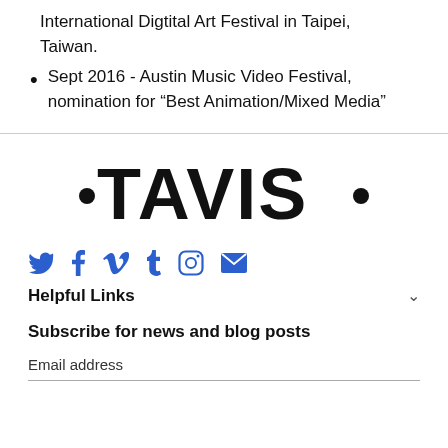International Digtital Art Festival in Taipei, Taiwan.
Sept 2016 - Austin Music Video Festival, nomination for “Best Animation/Mixed Media”
[Figure (logo): TAVIS logo in large bold custom hand-lettered font with dots before and after the text]
[Figure (infographic): Social media icons row: Twitter bird, Facebook f, Vimeo v, Tumblr t, Instagram circle, email envelope — all in blue]
Helpful Links
Subscribe for news and blog posts
Email address